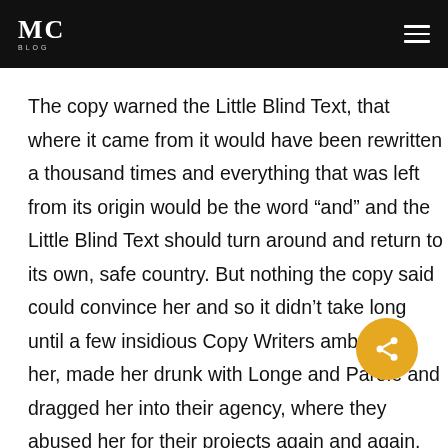MC
The copy warned the Little Blind Text, that where it came from it would have been rewritten a thousand times and everything that was left from its origin would be the word “and” and the Little Blind Text should turn around and return to its own, safe country. But nothing the copy said could convince her and so it didn’t take long until a few insidious Copy Writers ambushed her, made her drunk with Longe and Parole and dragged her into their agency, where they abused her for their projects again and again. And if it hasn’t been rewritten, then they are still using her.Far far away, behind the word mountains, far from the